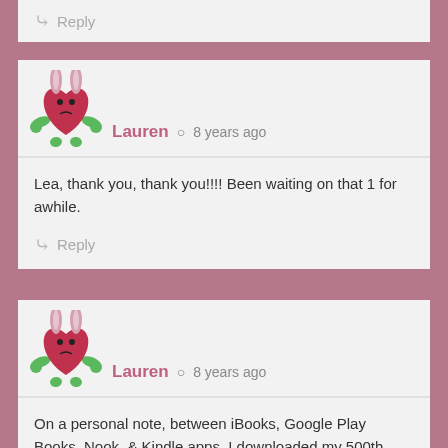Reply
[Figure (illustration): Cartoon heart character with bunny ears and green arms, colored magenta/pink]
Lauren  8 years ago
Lea, thank you, thank you!!!! Been waiting on that 1 for awhile.
Reply
[Figure (illustration): Cartoon heart character with bunny ears and green arms, colored magenta/pink]
Lauren  8 years ago
On a personal note, between iBooks, Google Play Books, Nook, & Kindle apps, I downloaded my 500th book today!! That's a good thing, right? Cuz the look of utter shock & horror on my husband's face made me think otherwise.
Reply